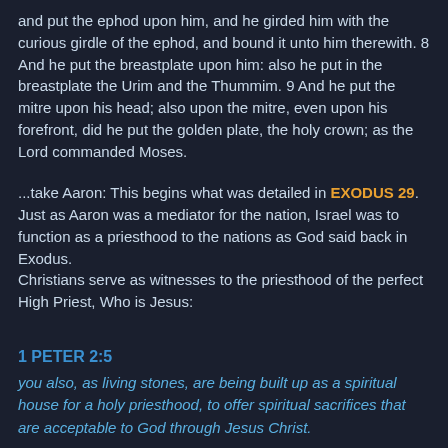and put the ephod upon him, and he girded him with the curious girdle of the ephod, and bound it unto him therewith. 8 And he put the breastplate upon him: also he put in the breastplate the Urim and the Thummim. 9 And he put the mitre upon his head; also upon the mitre, even upon his forefront, did he put the golden plate, the holy crown; as the Lord commanded Moses.
...take Aaron: This begins what was detailed in EXODUS 29. Just as Aaron was a mediator for the nation, Israel was to function as a priesthood to the nations as God said back in Exodus.
Christians serve as witnesses to the priesthood of the perfect High Priest, Who is Jesus:
1 PETER 2:5
you also, as living stones, are being built up as a spiritual house for a holy priesthood, to offer spiritual sacrifices that are acceptable to God through Jesus Christ.
Just like the Israelites had to follow a sacrificial system we too follow but not a system we are led by the Holy Spirit of